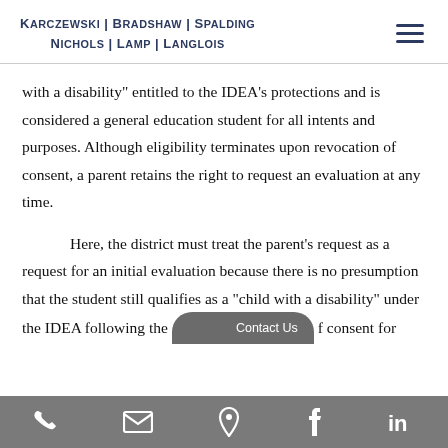KARCZEWSKI | BRADSHAW | SPALDING NICHOLS | LAMP | LANGLOIS
with a disability” entitled to the IDEA’s protections and is considered a general education student for all intents and purposes. Although eligibility terminates upon revocation of consent, a parent retains the right to request an evaluation at any time.
Here, the district must treat the parent’s request as a request for an initial evaluation because there is no presumption that the student still qualifies as a “child with a disability” under the IDEA following the [Contact Us] f consent for
Phone | Email | Map | Facebook | LinkedIn